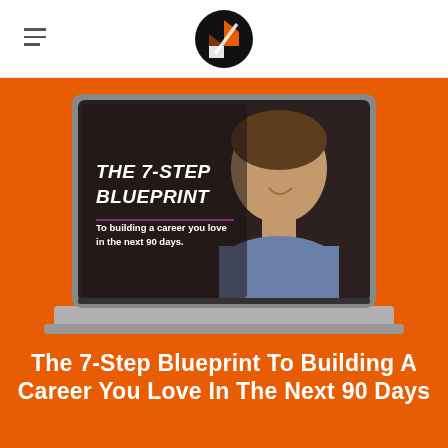[Figure (logo): Circular black logo with orange and white angular letter N or arrow shapes]
[Figure (screenshot): Laptop computer showing a video thumbnail with text 'THE 7-STEP BLUEPRINT To building a career you love in the next 90 days.' and a man smiling, displayed on an orange background]
The 7-Step Blueprint To Building A Career You Love In The Next 90 Days